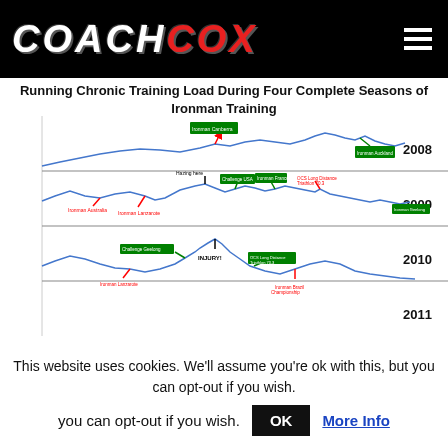COACH COX (logo with hamburger menu)
Running Chronic Training Load During Four Complete Seasons of Ironman Training
[Figure (continuous-plot): Multi-panel continuous line chart showing Running Chronic Training Load across four complete seasons of Ironman Training (2008, 2009, 2010, 2011). Each panel shows a blue line representing training load over the year, annotated with colored labels (green for Ironman races, red for other events/injuries, black for specific notes like Hazing Here and INJURY!). The chart has horizontal dividers separating each year, with year labels on the right side (2008, 2009, 2010, 2011). Notable annotations include Ironman Canberra, Ironman Australia, Ironman Lanzarote, Challenge USA, Ironman France, Ironman Auckland New Zealand, OCS Long Distance Triathlon, Ironman Brazil Championship, Challenge Geelong, and INJURY! in 2010.]
This website uses cookies. We'll assume you're ok with this, but you can opt-out if you wish.
OK  More Info